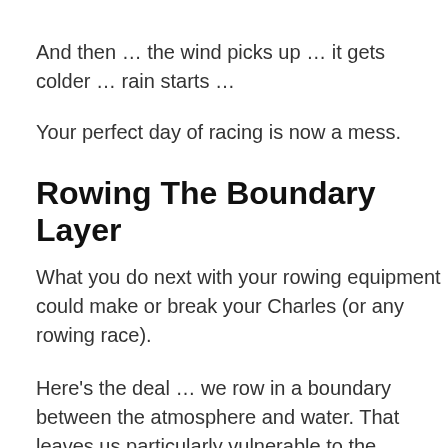And then … the wind picks up … it gets colder … rain starts …
Your perfect day of racing is now a mess.
Rowing The Boundary Layer
What you do next with your rowing equipment could make or break your Charles (or any rowing race).
Here's the deal … we row in a boundary between the atmosphere and water. That leaves us particularly vulnerable to the weather.